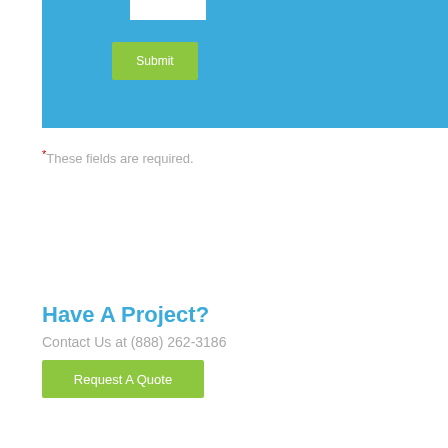[Figure (screenshot): Blue form section with white input box at top and green Submit button below]
* These fields are required.
Have A Project?
Contact Us at (888) 262-3186
Request A Quote